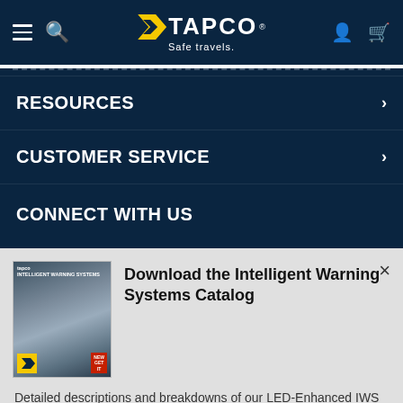TAPCO — Safe travels.
RESOURCES
CUSTOMER SERVICE
CONNECT WITH US
Download the Intelligent Warning Systems Catalog
Detailed descriptions and breakdowns of our LED-Enhanced IWS Systems.
Download FREE Catalog